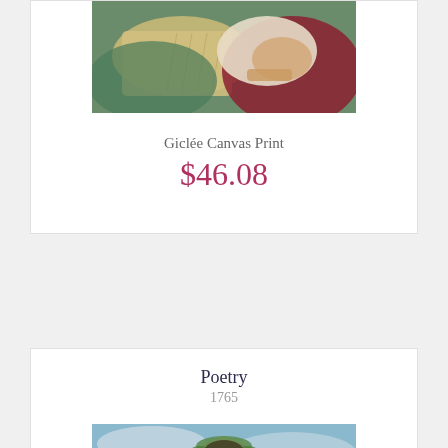[Figure (photo): Cropped classical painting showing a figure with a book and quill against green and red drapery]
Giclée Canvas Print
$46.08
Poetry
1765
[Figure (photo): Cropped classical painting showing a figure with laurel wreath against a blue sky background]